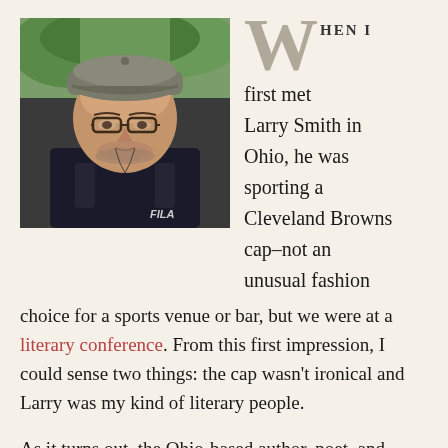[Figure (photo): Portrait photo of a middle-aged man wearing glasses and a flat cap, dressed in a dark jacket, photographed outdoors with trees in background.]
WHEN I first met Larry Smith in Ohio, he was sporting a Cleveland Browns cap–not an unusual fashion choice for a sports venue or bar, but we were at a literary conference. From this first impression, I could sense two things: the cap wasn't ironical and Larry was my kind of literary people.
As it turns out, the Ohio-based author, poet, and